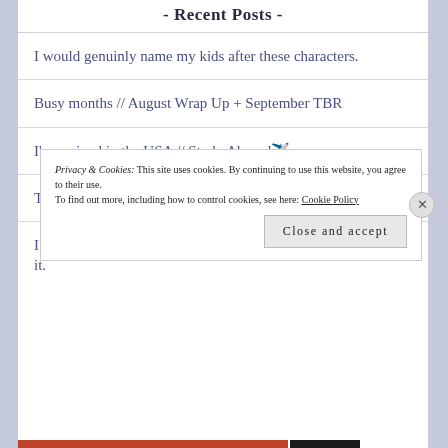- Recent Posts -
I would genuinly name my kids after these characters.
Busy months // August Wrap Up + September TBR
I've arrived in the USA // Study Abroad ✈️
The Summer Book Tag
I will never publicly admit to reading this series ... but I loved it.
Privacy & Cookies: This site uses cookies. By continuing to use this website, you agree to their use. To find out more, including how to control cookies, see here: Cookie Policy
Close and accept